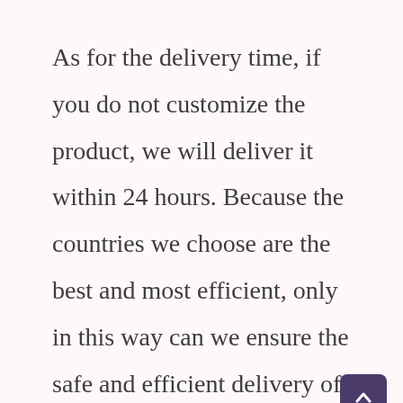As for the delivery time, if you do not customize the product, we will deliver it within 24 hours. Because the countries we choose are the best and most efficient, only in this way can we ensure the safe and efficient delivery of products to customers.

We use a door-to-door approach, so buyers can receive our eyelashes without leaving their